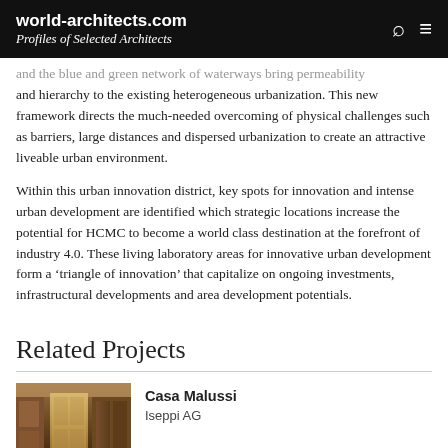world-architects.com
Profiles of Selected Architects
and the blue and green network of waterways bring permeability and hierarchy to the existing heterogeneous urbanization. This new framework directs the much-needed overcoming of physical challenges such as barriers, large distances and dispersed urbanization to create an attractive liveable urban environment.
Within this urban innovation district, key spots for innovation and intense urban development are identified which strategic locations increase the potential for HCMC to become a world class destination at the forefront of industry 4.0. These living laboratory areas for innovative urban development form a ‘triangle of innovation’ that capitalize on ongoing investments, infrastructural developments and area development potentials.
Related Projects
[Figure (photo): Interior photo of Casa Malussi showing wooden walls and a doorway with warm golden-brown tones]
Casa Malussi
Iseppi AG